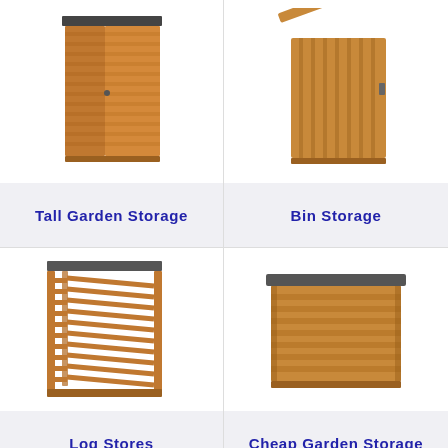[Figure (photo): Wooden tall garden storage unit with open door showing interior shelving, dark roof, brown slatted wood construction]
Tall Garden Storage
[Figure (photo): Wooden bin storage unit with hinged lid open, vertical slatted sides, brown wood construction]
Bin Storage
[Figure (photo): Wooden log store with open slatted sides, dark flat roof, open front design for storing firewood logs]
Log Stores
[Figure (photo): Wooden cheap garden storage box with horizontal slats, dark flat roof, closed design]
Cheap Garden Storage